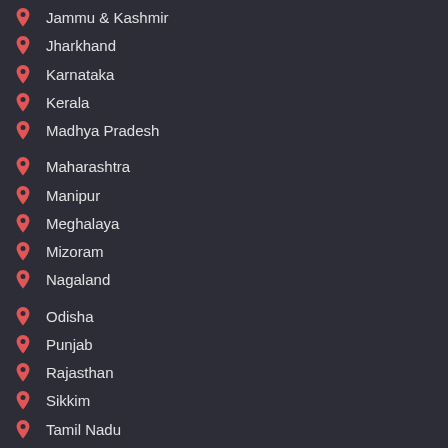Jammu & Kashmir
Jharkhand
Karnataka
Kerala
Madhya Pradesh
Maharashtra
Manipur
Meghalaya
Mizoram
Nagaland
Odisha
Punjab
Rajasthan
Sikkim
Tamil Nadu
Telangana
Tripura
Uttar Pradesh
Uttarakhand
West Bengal
OTHER LINKS
About Us
Contact Us